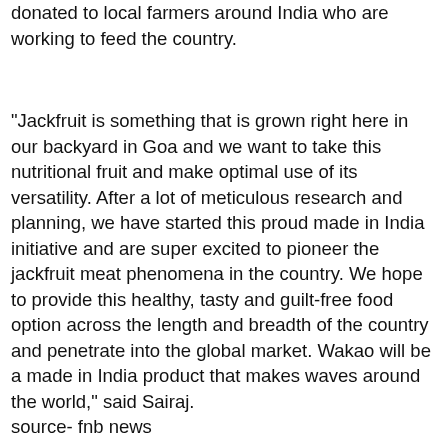donated to local farmers around India who are working to feed the country.
“Jackfruit is something that is grown right here in our backyard in Goa and we want to take this nutritional fruit and make optimal use of its versatility. After a lot of meticulous research and planning, we have started this proud made in India initiative and are super excited to pioneer the jackfruit meat phenomena in the country. We hope to provide this healthy, tasty and guilt-free food option across the length and breadth of the country and penetrate into the global market. Wakao will be a made in India product that makes waves around the world,” said Sairaj.
source- fnb news